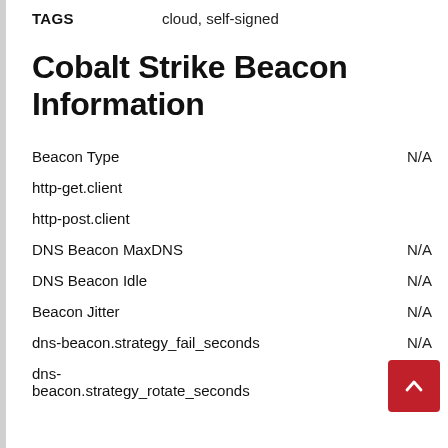TAGS   cloud, self-signed
Cobalt Strike Beacon Information
Beacon Type   N/A
http-get.client
http-post.client
DNS Beacon MaxDNS   N/A
DNS Beacon Idle   N/A
Beacon Jitter   N/A
dns-beacon.strategy_fail_seconds   N/A
dns-
beacon.strategy_rotate_seconds